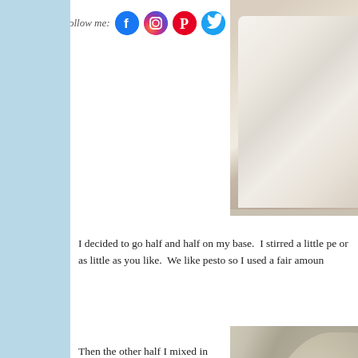[Figure (photo): Food photo showing tomatoes on paper towels from above]
[Figure (photo): Social media follow icons for Facebook, Instagram, Pinterest, Twitter with 'Follow me:' label]
I decided to go half and half on my base.  I stirred a little pe or as little as you like.  We like pesto so I used a fair amoun
[Figure (photo): Bowl of creamy white mixture with pesto stirred in, showing green flecks]
Then the other half I mixed in for balance... We di